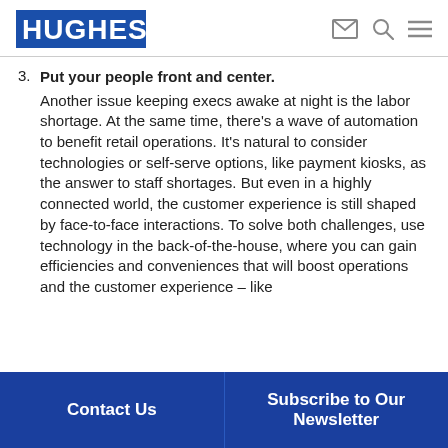HUGHES. [email icon] [search icon] [menu icon]
3. Put your people front and center. Another issue keeping execs awake at night is the labor shortage. At the same time, there's a wave of automation to benefit retail operations. It's natural to consider technologies or self-serve options, like payment kiosks, as the answer to staff shortages. But even in a highly connected world, the customer experience is still shaped by face-to-face interactions. To solve both challenges, use technology in the back-of-the-house, where you can gain efficiencies and conveniences that will boost operations and the customer experience – like
Contact Us | Subscribe to Our Newsletter